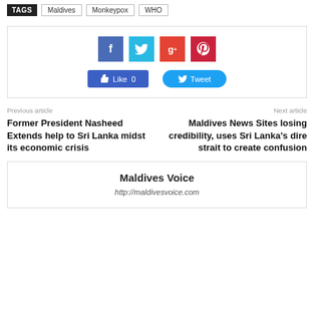TAGS  Maldives  Monkeypox  WHO
[Figure (infographic): Social sharing widget with Facebook, Twitter, Google+, and Pinterest icon buttons, plus Like 0 and Tweet action buttons]
Previous article
Next article
Former President Nasheed Extends help to Sri Lanka midst its economic crisis
Maldives News Sites losing credibility, uses Sri Lanka's dire strait to create confusion
Maldives Voice
http://maldivesvoice.com